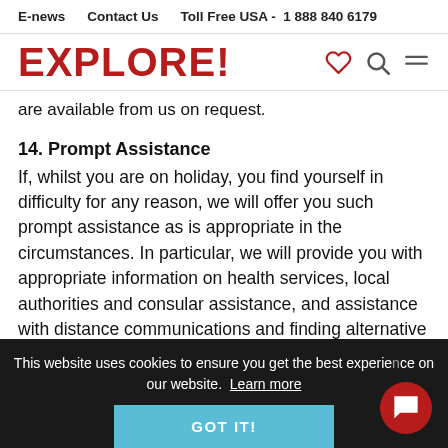E-news   Contact Us   Toll Free USA -  1 888 840 6179
EXPLORE!
are available from us on request.
14. Prompt Assistance
If, whilst you are on holiday, you find yourself in difficulty for any reason, we will offer you such prompt assistance as is appropriate in the circumstances. In particular, we will provide you with appropriate information on health services, local authorities and consular assistance, and assistance with distance communications and finding alternative travel
This website uses cookies to ensure you get the best experience on our website. Learn more